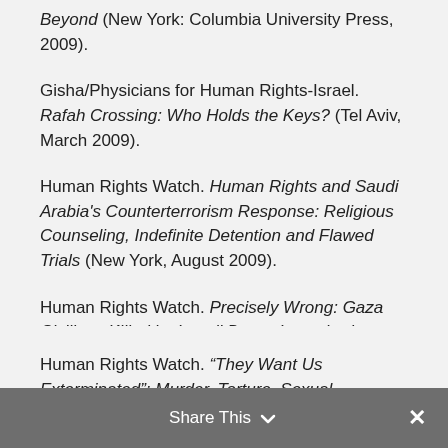Beyond (New York: Columbia University Press, 2009).
Gisha/Physicians for Human Rights-Israel. Rafah Crossing: Who Holds the Keys? (Tel Aviv, March 2009).
Human Rights Watch. Human Rights and Saudi Arabia's Counterterrorism Response: Religious Counseling, Indefinite Detention and Flawed Trials (New York, August 2009).
Human Rights Watch. Precisely Wrong: Gaza Civilians Killed by Israeli Drone-Launched Missiles (New York, June 2009).
Human Rights Watch. “They Want Us Exterminated”: Murder, Torture, Sexual Orientation
Share This